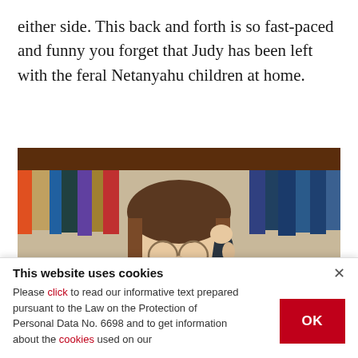either side. This back and forth is so fast-paced and funny you forget that Judy has been left with the feral Netanyahu children at home.
[Figure (photo): A man with round glasses, wearing a dark jacket, resting his hand near his temple, with bookshelves visible in the background.]
This website uses cookies

Please click to read our informative text prepared pursuant to the Law on the Protection of Personal Data No. 6698 and to get information about the cookies used on our
OK